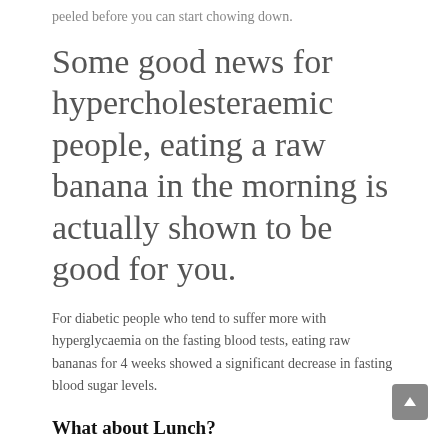peeled before you can start chowing down.
Some good news for hypercholesteraemic people, eating a raw banana in the morning is actually shown to be good for you.
For diabetic people who tend to suffer more with hyperglycaemia on the fasting blood tests, eating raw bananas for 4 weeks showed a significant decrease in fasting blood sugar levels.
What about Lunch?
Surprisingly, when it comes to lunchtime there's no need for massive changes to your eating habits.